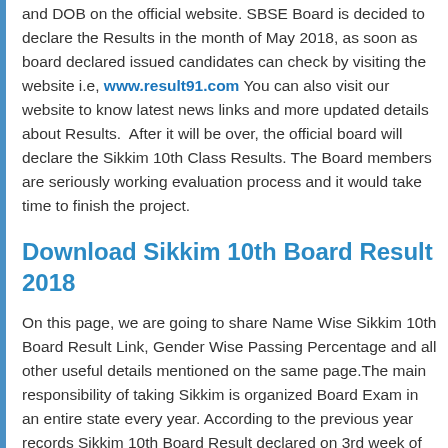and DOB on the official website. SBSE Board is decided to declare the Results in the month of May 2018, as soon as board declared issued candidates can check by visiting the website i.e, www.result91.com You can also visit our website to know latest news links and more updated details about Results. After it will be over, the official board will declare the Sikkim 10th Class Results. The Board members are seriously working evaluation process and it would take time to finish the project.
Download Sikkim 10th Board Result 2018
On this page, we are going to share Name Wise Sikkim 10th Board Result Link, Gender Wise Passing Percentage and all other useful details mentioned on the same page.The main responsibility of taking Sikkim is organized Board Exam in an entire state every year. According to the previous year records Sikkim 10th Board Result declared on 3rd week of May 2018. But this date is totally tentative so, students are advised to keep in touch with us for further updates. On this page, we are going to share all relevant details regarding Sikkim 10th Board Result and other details.